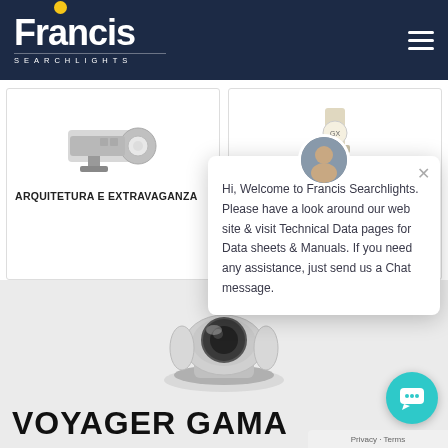[Figure (logo): Francis Searchlights logo — white bold text with yellow dot above 'i', dark navy background, 'SEARCHLIGHTS' subtitle in spaced caps]
[Figure (photo): Product image of a searchlight/projector fixture on the left card]
ARQUITETURA E EXTRAVAGANZA
[Figure (photo): Product image of a lamp/bulb component on the right card]
[Figure (screenshot): Chat popup with avatar photo of a man, close button, welcome message text]
Hi, Welcome to Francis Searchlights. Please have a look around our web site & visit Technical Data pages for Data sheets & Manuals. If you need any assistance, just send us a Chat message.
[Figure (photo): Voyager Gama product — silver/black searchlight on grey background]
VOYAGER GAMA
Privacy · Terms